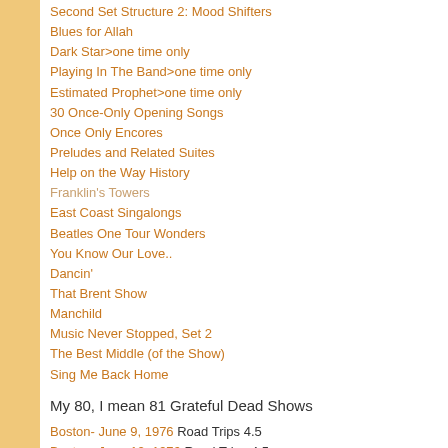Second Set Structure 2: Mood Shifters
Blues for Allah
Dark Star>one time only
Playing In The Band>one time only
Estimated Prophet>one time only
30 Once-Only Opening Songs
Once Only Encores
Preludes and Related Suites
Help on the Way History
Franklin's Towers
East Coast Singalongs
Beatles One Tour Wonders
You Know Our Love..
Dancin'
That Brent Show
Manchild
Music Never Stopped, Set 2
The Best Middle (of the Show)
Sing Me Back Home
My 80, I mean 81 Grateful Dead Shows
Boston- June 9, 1976 Road Trips 4.5
Boston- June 12, 1976 Road Trips 4.5
Hartford- August 2, 1976
Springfield- April 23, 1977